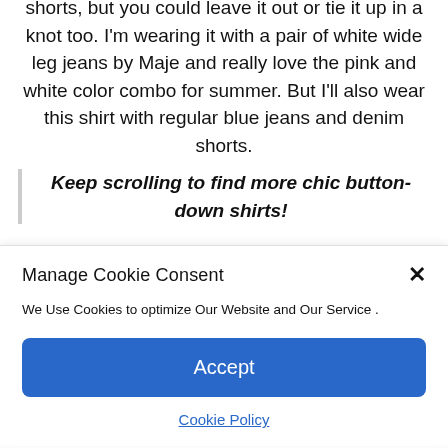shorts, but you could leave it out or tie it up in a knot too. I'm wearing it with a pair of white wide leg jeans by Maje and really love the pink and white color combo for summer. But I'll also wear this shirt with regular blue jeans and denim shorts.
Keep scrolling to find more chic button-down shirts!
Manage Cookie Consent
We Use Cookies to optimize Our Website and Our Service .
Accept
Cookie Policy